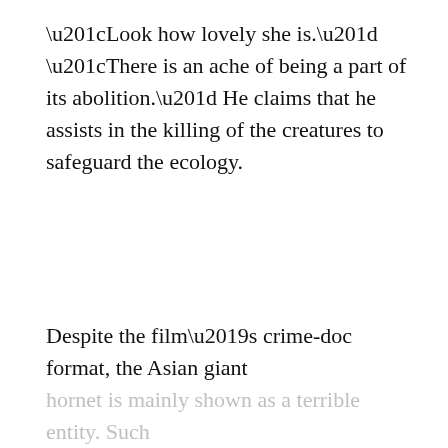“Look how lovely she is.” “There is an ache of being a part of its abolition.” He claims that he assists in the killing of the creatures to safeguard the ecology.
Despite the film’s crime-doc format, the Asian giant hornet is mainly shown as a terrible entity. Such